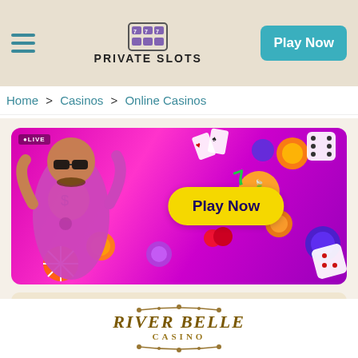PRIVATE SLOTS — Play Now
Home > Casinos > Online Casinos
[Figure (illustration): Casino promotional banner with magenta/pink gradient background, a man in pink outfit with sunglasses, casino chips, dice, fruits (cherries, orange), playing cards, and a yellow 'Play Now' button. LIVE badge in top left.]
River Belle Casino
[Figure (logo): River Belle Casino logo with ornate gold/dark lettering and decorative scrollwork]